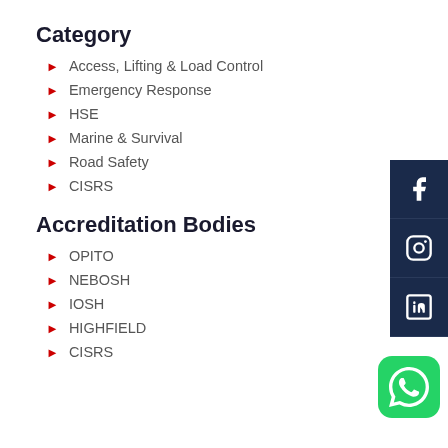Category
Access, Lifting & Load Control
Emergency Response
HSE
Marine & Survival
Road Safety
CISRS
Accreditation Bodies
OPITO
NEBOSH
IOSH
HIGHFIELD
CISRS
[Figure (illustration): Facebook social media icon button (dark navy blue background, white Facebook 'f' logo)]
[Figure (illustration): Instagram social media icon button (dark navy blue background, white Instagram camera logo)]
[Figure (illustration): LinkedIn social media icon button (dark navy blue background, white LinkedIn 'in' logo)]
[Figure (illustration): WhatsApp floating button (green rounded square background, white WhatsApp phone-in-bubble logo)]